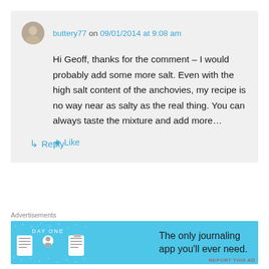buttery77 on 09/01/2014 at 9:08 am
Hi Geoff, thanks for the comment – I would probably add some more salt. Even with the high salt content of the anchovies, my recipe is no way near as salty as the real thing. You can always taste the mixture and add more…
★ Like
↳ Reply
Advertisements
[Figure (other): Day One app advertisement banner — blue background with icons of a journal, person, and notepad, text reading DAY ONE and The only journaling app you'll ever need.]